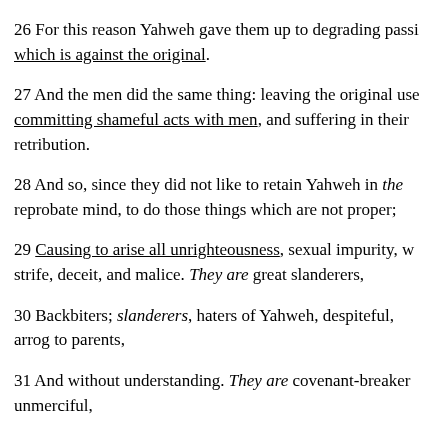26 For this reason Yahweh gave them up to degrading passi… which is against the original.
27 And the men did the same thing: leaving the original use… committing shameful acts with men, and suffering in their… retribution.
28 And so, since they did not like to retain Yahweh in the… reprobate mind, to do those things which are not proper;
29 Causing to arise all unrighteousness, sexual impurity, w… strife, deceit, and malice. They are great slanderers,
30 Backbiters; slanderers, haters of Yahweh, despiteful, arrog… to parents,
31 And without understanding. They are covenant-breaker… unmerciful,